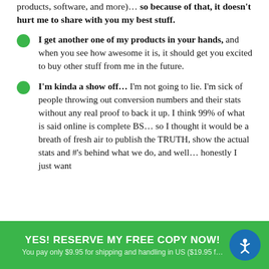products, software, and more)… so because of that, it doesn't hurt me to share with you my best stuff.
I get another one of my products in your hands, and when you see how awesome it is, it should get you excited to buy other stuff from me in the future.
I'm kinda a show off… I'm not going to lie. I'm sick of people throwing out conversion numbers and their stats without any real proof to back it up. I think 99% of what is said online is complete BS… so I thought it would be a breath of fresh air to publish the TRUTH, show the actual stats and #'s behind what we do, and well… honestly I just want
YES! RESERVE MY FREE COPY NOW! You pay only $9.95 for shipping and handling in US ($19.95 f…